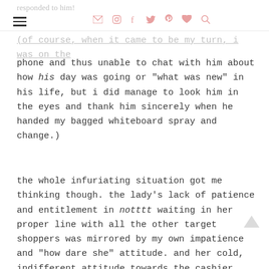responded to him!
(of course, when it came to be my turn, i was on the phone and thus unable to chat with him about how his day was going or "what was new" in his life, but i did manage to look him in the eyes and thank him sincerely when he handed my bagged whiteboard spray and change.)
the whole infuriating situation got me thinking though. the lady's lack of patience and entitlement in notttt waiting in her proper line with all the other target shoppers was mirrored by my own impatience and "how dare she" attitude. and her cold, indifferent attitude towards the cashier wasn't any better than my angry assessment of the situation. maybe she had had a long day dealing with bratty toddlers, or maybe she was in a rush to get home and cook dinner for the